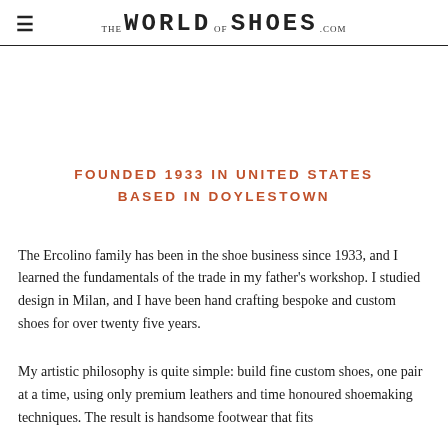≡ THE WORLD OF SHOES .com
FOUNDED 1933 IN UNITED STATES
BASED IN DOYLESTOWN
The Ercolino family has been in the shoe business since 1933, and I learned the fundamentals of the trade in my father's workshop. I studied design in Milan, and I have been hand crafting bespoke and custom shoes for over twenty five years.
My artistic philosophy is quite simple: build fine custom shoes, one pair at a time, using only premium leathers and time honoured shoemaking techniques. The result is handsome footwear that fits